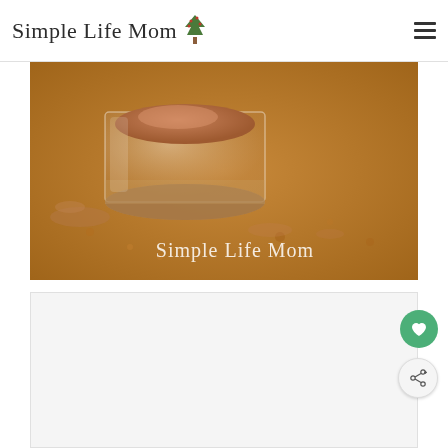Simple Life Mom
[Figure (photo): A glass jar of brownish-tan loose mineral powder makeup on a sandy/tan textured background. The jar is open showing the powder inside. Text 'Simple Life Mom' appears in white cursive in the lower right of the image.]
[Figure (other): Light gray content/ad box area below the hero image with a green heart/favorite button and a share button on the right side.]